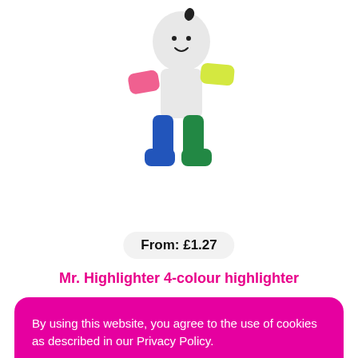[Figure (illustration): Mr. Highlighter product photo: a white cartoon humanoid figure holding four highlighter caps as arms, legs and feet in pink, yellow, blue, and green colors, with a smiley face on a white round head.]
From: £1.27
Mr. Highlighter 4-colour highlighter
By using this website, you agree to the use of cookies as described in our Privacy Policy.
I AGREE →